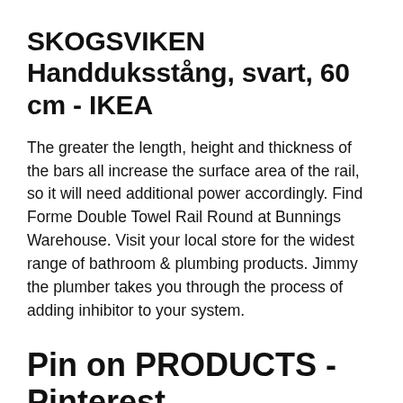SKOGSVIKEN Handduksstång, svart, 60 cm - IKEA
The greater the length, height and thickness of the bars all increase the surface area of the rail, so it will need additional power accordingly. Find Forme Double Towel Rail Round at Bunnings Warehouse. Visit your local store for the widest range of bathroom & plumbing products. Jimmy the plumber takes you through the process of adding inhibitor to your system.
Pin on PRODUCTS - Pinterest